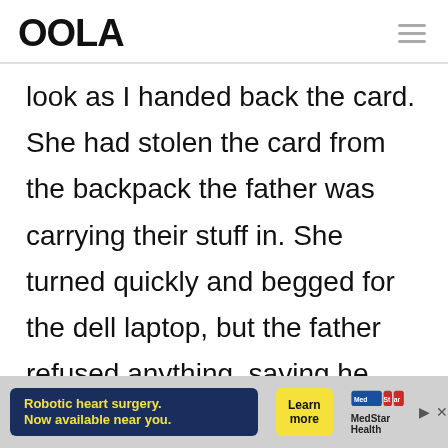OOLA
look as I handed back the card. She had stolen the card from the backpack the father was carrying their stuff in. She turned quickly and begged for the dell laptop, but the father refused anything, saying he had a much better punishment. We all laughed and cringed. Others in
[Figure (infographic): Advertisement banner: Robotic heart surgery. Now available near you. Learn more. MedStar Health logo.]